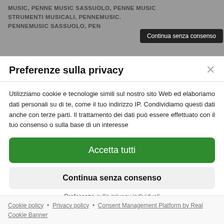MUSIC, PENNE MUSIC SASSUOLO, PENNE MUSIC STRUMENTI MUSICALI, PENNEMUSIC. PENNEMUSIC SASSUOLO, PEN…
Continua senza consenso
Preferenze sulla privacy
Utilizziamo cookie e tecnologie simili sul nostro sito Web ed elaboriamo dati personali su di te, come il tuo indirizzo IP. Condividiamo questi dati anche con terze parti. Il trattamento dei dati può essere effettuato con il tuo consenso o sulla base di un interesse
Accetta tutti
Continua senza consenso
Preferenze sulla privacy individuali
Cookie policy • Privacy policy • Consent Management Platform by Real Cookie Banner